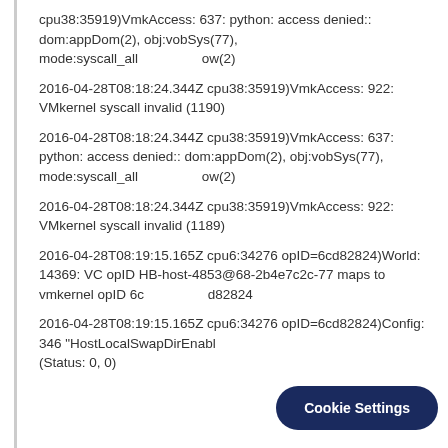cpu38:35919)VmkAccess: 637: python: access denied:: dom:appDom(2), obj:vobSys(77), mode:syscall_all                    ow(2)
2016-04-28T08:18:24.344Z cpu38:35919)VmkAccess: 922: VMkernel syscall invalid (1190)
2016-04-28T08:18:24.344Z cpu38:35919)VmkAccess: 637: python: access denied:: dom:appDom(2), obj:vobSys(77), mode:syscall_all                    ow(2)
2016-04-28T08:18:24.344Z cpu38:35919)VmkAccess: 922: VMkernel syscall invalid (1189)
2016-04-28T08:19:15.165Z cpu6:34276 opID=6cd82824)World: 14369: VC opID HB-host-4853@68-2b4e7c2c-77 maps to vmkernel opID 6c                    d82824
2016-04-28T08:19:15.165Z cpu6:34276 opID=6cd82824)Config: 346 "HostLocalSwapDirEnabl (Status: 0, 0)
Cookie Settings